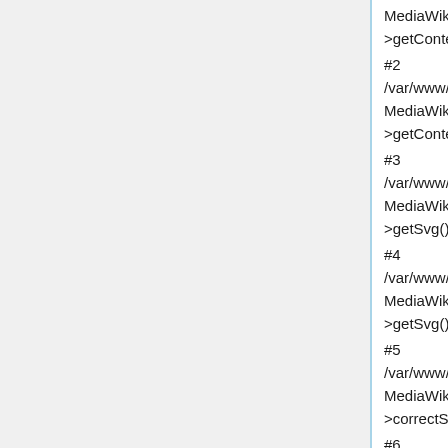MediaWiki\Extension\Math\MathRestbaseIn->getContentRequest(string)
#2
/var/www/html/extensions/Math/src/MathRes
MediaWiki\Extension\Math\MathRestbaseIn->getContent(string)
#3
/var/www/html/extensions/Math/src/MathRes
MediaWiki\Extension\Math\MathRestbaseIn->getSvg()
#4
/var/www/html/extensions/Math/src/MathMa
MediaWiki\Extension\Math\MathRenderer->getSvg()
#5
/var/www/html/extensions/Math/src/MathMa
MediaWiki\Extension\Math\MathMathML->correctSvgStyle(NULL)
#6
/var/www/html/extensions/Math/src/MathMa